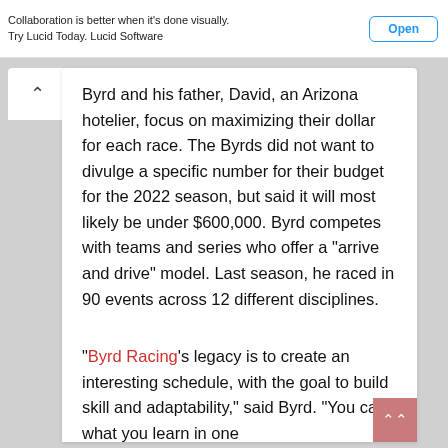Collaboration is better when it's done visually. Try Lucid Today. Lucid Software | Open
Byrd and his father, David, an Arizona hotelier, focus on maximizing their dollar for each race. The Byrds did not want to divulge a specific number for their budget for the 2022 season, but said it will most likely be under $600,000. Byrd competes with teams and series who offer a "arrive and drive" model. Last season, he raced in 90 events across 12 different disciplines.
"Byrd Racing's legacy is to create an interesting schedule, with the goal to build skill and adaptability," said Byrd. "You carry what you learn in one